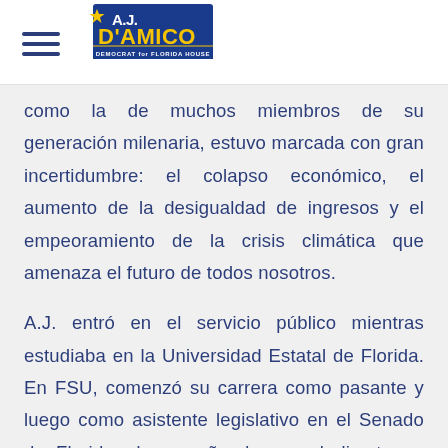A.J. D'Amico – Democrat for Florida House
como la de muchos miembros de su generación milenaria, estuvo marcada con gran incertidumbre: el colapso económico, el aumento de la desigualdad de ingresos y el empeoramiento de la crisis climática que amenaza el futuro de todos nosotros.
A.J. entró en el servicio público mientras estudiaba en la Universidad Estatal de Florida. En FSU, comenzó su carrera como pasante y luego como asistente legislativo en el Senado de Florida, desempeñando un rol directo en cuestiones importantes que afronta